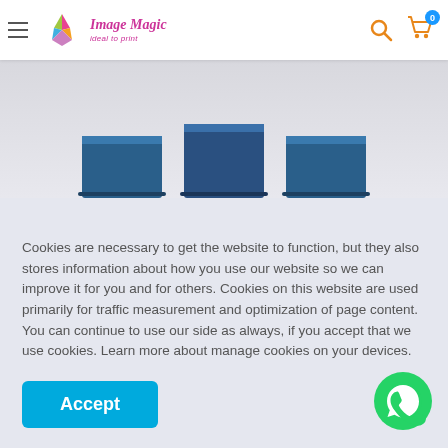[Figure (logo): Image Magic logo with colorful pinwheel icon and text 'Image Magic ideal to print' in pink/magenta]
[Figure (screenshot): E-commerce website header showing hamburger menu, Image Magic logo, search icon, and cart icon with badge showing 0]
[Figure (photo): Partial product image showing tops of three dark blue notebooks/tablets against light grey background]
Cookies are necessary to get the website to function, but they also stores information about how you use our website so we can improve it for you and for others. Cookies on this website are used primarily for traffic measurement and optimization of page content. You can continue to use our side as always, if you accept that we use cookies. Learn more about manage cookies on your devices.
[Figure (other): Green WhatsApp chat button (circle with phone handset icon)]